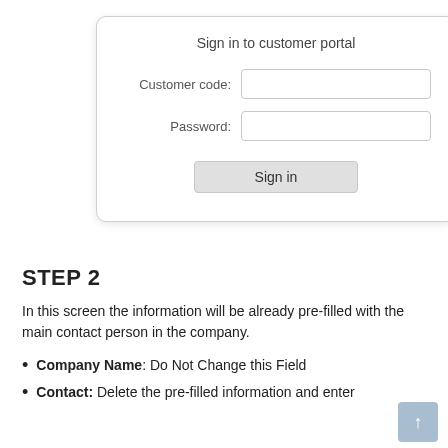[Figure (screenshot): Customer portal sign-in form with fields for Customer code and Password, and a Sign in button]
STEP 2
In this screen the information will be already pre-filled with the main contact person in the company.
Company Name: Do Not Change this Field
Contact: Delete the pre-filled information and enter